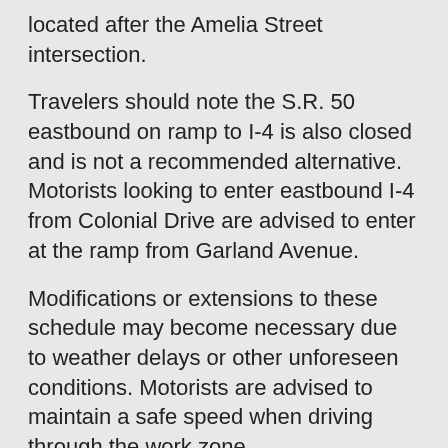located after the Amelia Street intersection.
Travelers should note the S.R. 50 eastbound on ramp to I-4 is also closed and is not a recommended alternative. Motorists looking to enter eastbound I-4 from Colonial Drive are advised to enter at the ramp from Garland Avenue.
Modifications or extensions to these schedule may become necessary due to weather delays or other unforeseen conditions. Motorists are advised to maintain a safe speed when driving through the work zone.
In addition to detour signs and variable message boards in the areas of these new traffic patterns, information on closures and traffic shifts are included in I-4 Ultimate's Advanced Construction Alert System. Sign up to receive construction alerts by text or email at i4ultimate.com.